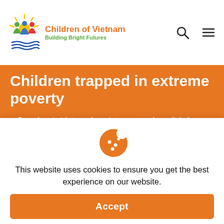[Figure (logo): Children of Vietnam logo with sun and children graphic, tagline 'Building Bright Futures']
Children trapped in extreme poverty
dren in Vietnam born into poverty, have little hope for the chance of a better life.
More than 66% of the population lives in rural areas, where whole families earn as little as $1-$2 per day as
This website uses cookies to ensure you get the best experience on our website.
Accept